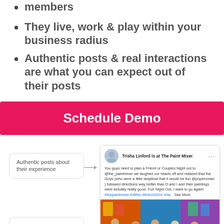members
They live, work & play within your business radius
Authentic posts & real interactions are what you can expect out of their posts
[Figure (screenshot): Pink/red 'Schedule Demo' button]
[Figure (screenshot): Social media post card from Trisha Linford at The Paint Mixer with user photo and group photo below, with callout boxes: 'Authentic posts about their experience' and 'Images are real']